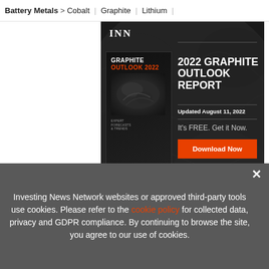Battery Metals > Cobalt | Graphite | Lithium |
[Figure (screenshot): INN 2022 Graphite Outlook Report advertisement banner. Dark background with graphite rock texture. Shows book cover with 'GRAPHITE OUTLOOK 2022' title, headline '2022 GRAPHITE OUTLOOK REPORT Updated August 11, 2022', tagline 'It's FREE. Get it Now.' and orange 'Download Now' button.]
[Figure (screenshot): INN Lithium Outlook 2022 advertisement strip. Red top border, 'Updated Aug 10, 2022' label. Shows lithium outlook book, text 'TOP LITHIUM Stocks, Trends, Forecasts 2022 Lithium Outlook Report' and INN logo.]
Investing News Network websites or approved third-party tools use cookies. Please refer to the cookie policy for collected data, privacy and GDPR compliance. By continuing to browse the site, you agree to our use of cookies.